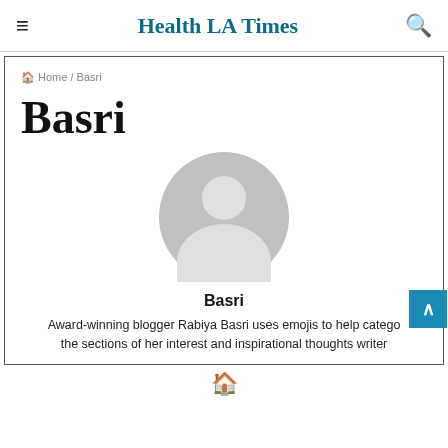≡ Health LA Times 🔍
🏠 Home / Basri
Basri
[Figure (illustration): Gray default user avatar silhouette — circle head above a rounded torso shape on a gray circular background]
Basri
Award-winning blogger Rabiya Basri uses emojis to help categorize the sections of her interest and inspirational thoughts written